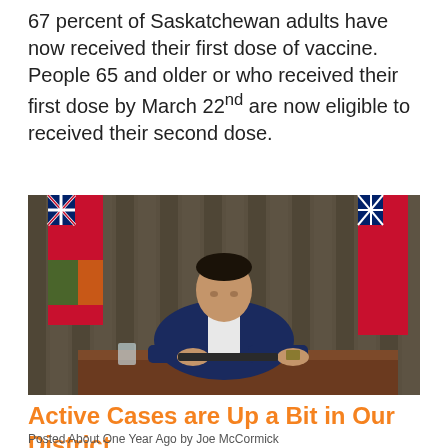67 percent of Saskatchewan adults have now received their first dose of vaccine. People 65 and older or who received their first dose by March 22nd are now eligible to received their second dose.
[Figure (photo): A man in a dark navy suit sits at a wooden desk looking down, with red and white Manitoba flags in the background against dark curtains.]
Active Cases are Up a Bit in Our District.
Posted About One Year Ago by Joe McCormick